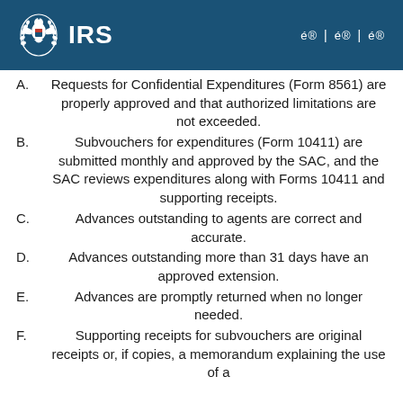IRS
A. Requests for Confidential Expenditures (Form 8561) are properly approved and that authorized limitations are not exceeded.
B. Subvouchers for expenditures (Form 10411) are submitted monthly and approved by the SAC, and the SAC reviews expenditures along with Forms 10411 and supporting receipts.
C. Advances outstanding to agents are correct and accurate.
D. Advances outstanding more than 31 days have an approved extension.
E. Advances are promptly returned when no longer needed.
F. Supporting receipts for subvouchers are original receipts or, if copies, a memorandum explaining the use of a